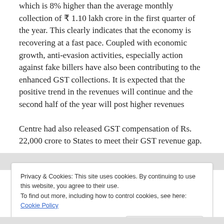which is 8% higher than the average monthly collection of ₹ 1.10 lakh crore in the first quarter of the year. This clearly indicates that the economy is recovering at a fast pace. Coupled with economic growth, anti-evasion activities, especially action against fake billers have also been contributing to the enhanced GST collections. It is expected that the positive trend in the revenues will continue and the second half of the year will post higher revenues
Centre had also released GST compensation of Rs. 22,000 crore to States to meet their GST revenue gap.
Privacy & Cookies: This site uses cookies. By continuing to use this website, you agree to their use. To find out more, including how to control cookies, see here: Cookie Policy